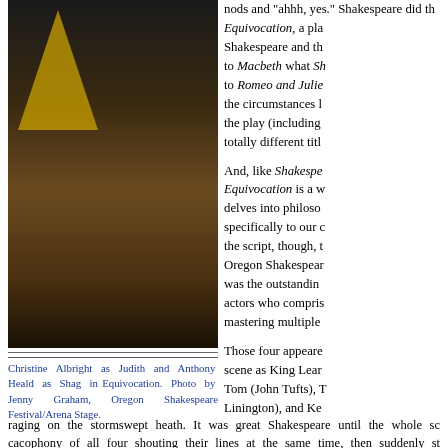[Figure (photo): Christine Albright as Judith and Anthony Heald as Shag in a theatrical scene, with papers flying, at a writing desk on stage. Background has yellow geometric shapes.]
Christine Albright as Judith and Anthony Heald as Shag in Equivocation. Photo by Jenny Graham, Oregon Shakespeare Festival/Arena Stage.
nods and "ahhh, yes." Shakespeare did the same. Equivocation, a play about Shakespeare and the writing of Macbeth what Sh... to Romeo and Julie... the circumstances leading to the play (including a totally different title...
And, like Shakespe... Equivocation is a w... delves into philoso... specifically to our c... the script, though, t... Oregon Shakespear... was the outstanding actors who compris... mastering multiple...
Those four appeare... scene as King Lear... Tom (John Tufts), T... Linington), and Ke...
raging on the stormswept heath. It was great Shakespeare until the whole sc... cacophony of all four shouting their lines at the same time, then suddenly st... confusion, the guy playing Lear said, "This is where we always go off track... respectively, Richard Burbage, Richard Sharpe, Robert Armin, and a fourth... Nate, rehearsing the scene. At that point, we knew we were in for a wonde...